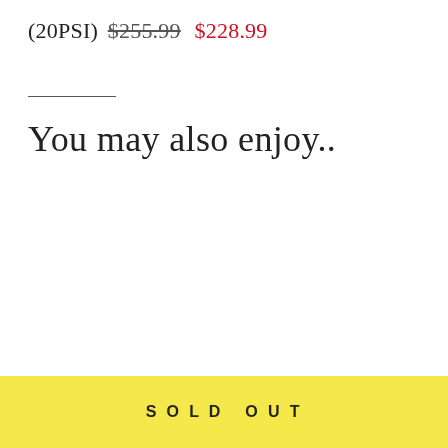(20PSI) $255.99 $228.99
You may also enjoy..
[Figure (other): A circular badge with red border containing the text SAVE $131.99 in red uppercase letters]
SOLD OUT